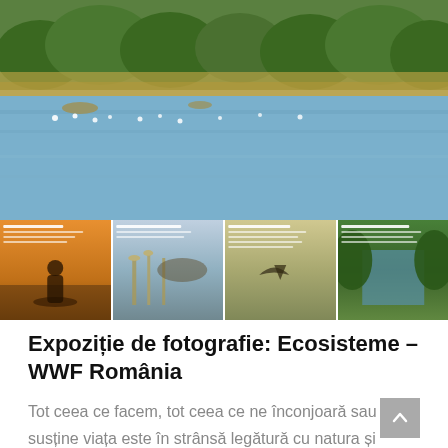[Figure (photo): Wide landscape photo of a wetland/delta scene with calm water, reeds, trees in background, and birds on the water surface]
[Figure (photo): Strip of four thumbnail photos showing exhibition panels with text and nature/wildlife images: (1) orange sunset with silhouette figure in boat, (2) birds and reeds, (3) bird in flight over wetland, (4) green forested waterway]
Expoziție de fotografie: Ecosisteme – WWF România
Tot ceea ce facem, tot ceea ce ne înconjoară sau ne susține viața este în strânsă legătură cu natura și mediul nostru înconjurător. Indiferent că vorbim despre păduri, ape, pășuni, zone agricole sau chiar despre zone…